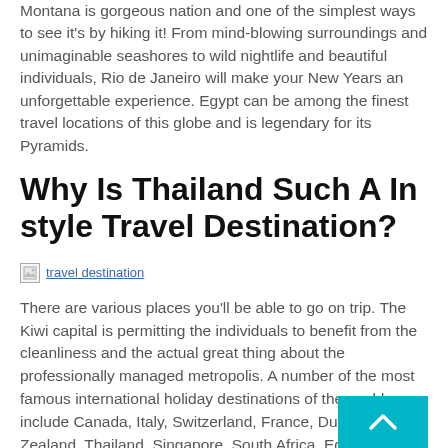Montana is gorgeous nation and one of the simplest ways to see it's by hiking it! From mind-blowing surroundings and unimaginable seashores to wild nightlife and beautiful individuals, Rio de Janeiro will make your New Years an unforgettable experience. Egypt can be among the finest travel locations of this globe and is legendary for its Pyramids.
Why Is Thailand Such A In style Travel Destination?
[Figure (photo): Broken image placeholder labeled 'travel destination']
There are various places you'll be able to go on trip. The Kiwi capital is permitting the individuals to benefit from the cleanliness and the actual great thing about the professionally managed metropolis. A number of the most famous international holiday destinations of the world include Canada, Italy, Switzerland, France, Dubai, New Zealand, Thailand, Singapore, South Africa, Egypt, Australia and India.
This Toolbar presents “links” to all the above “Tra… ites”,